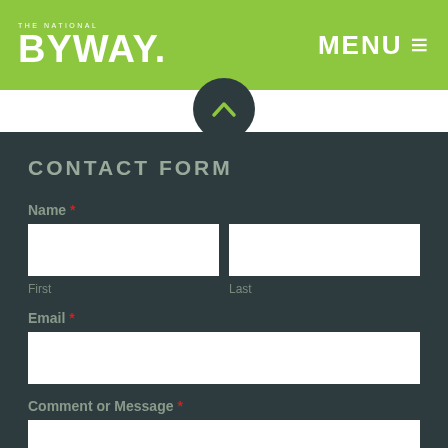THE NATIONAL BYWAY.
MENU ≡
[Figure (other): Dark circular chevron/up-arrow toggle button overlapping white strip and dark form area]
CONTACT FORM
Name *
First
Last
Email *
Comment or Message *